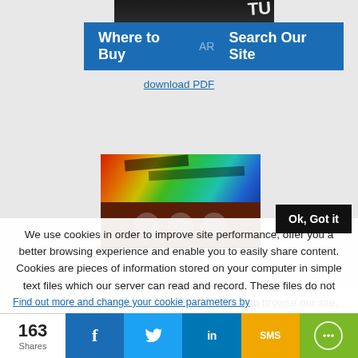[Figure (screenshot): Website navigation bar with 'Where to Buy' and 'Search Our Site' buttons on a blue background, with a 'download PDF' link below]
[Figure (illustration): Colorful abstract art image strip showing vibrant colors at top and dark brown section with circular icons at bottom]
Ok, Got it
We use cookies in order to improve site performance, offer you a better browsing experience and enable you to easily share content. Cookies are pieces of information stored on your computer in simple text files which our server can read and record. These files do not contain any sensitive information. By continuing to browse our site, you agree to the use of cookies.
Find out more and change your cookie parameters by
163 Shares